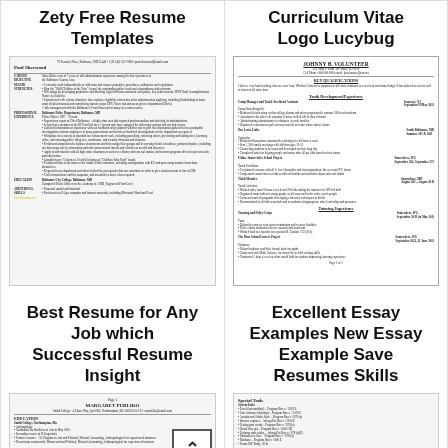Zety Free Resume Templates
Curriculum Vitae Logo Lucybug
[Figure (screenshot): Resume template preview showing Paul Sherwood resume with career objective, major strengths, professional experience, education, and additional skills sections]
[Figure (screenshot): Curriculum vitae template preview for Johnny B. Volunteer showing volunteer experience, youth development experience, tutoring experience sections]
Best Resume for Any Job which Successful Resume Insight
Excellent Essay Examples New Essay Example Save Resumes Skills
[Figure (screenshot): Resume template preview for Margaret Publiko showing education, experience sections]
[Figure (screenshot): Resume template showing Special Tools section with list items]